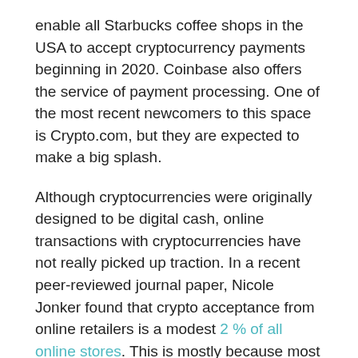enable all Starbucks coffee shops in the USA to accept cryptocurrency payments beginning in 2020. Coinbase also offers the service of payment processing. One of the most recent newcomers to this space is Crypto.com, but they are expected to make a big splash.
Although cryptocurrencies were originally designed to be digital cash, online transactions with cryptocurrencies have not really picked up traction. In a recent peer-reviewed journal paper, Nicole Jonker found that crypto acceptance from online retailers is a modest 2 % of all online stores. This is mostly because most cryptocurrencies are deflationary, and investors don't want to spend them. Most merchants convert crypto payments to fiat to avoid volatility issues. However, online transactions may gain adoption with stablecoins since they aren't deflationary. For example, BitPay added settlement support for US dollar stablecoins